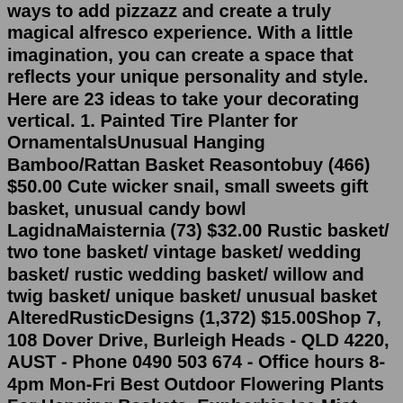ways to add pizzazz and create a truly magical alfresco experience. With a little imagination, you can create a space that reflects your unique personality and style. Here are 23 ideas to take your decorating vertical. 1. Painted Tire Planter for OrnamentalsUnusual Hanging Bamboo/Rattan Basket Reasontobuy (466) $50.00 Cute wicker snail, small sweets gift basket, unusual candy bowl LagidnaMaisternia (73) $32.00 Rustic basket/ two tone basket/ vintage basket/ wedding basket/ rustic wedding basket/ willow and twig basket/ unique basket/ unusual basket AlteredRusticDesigns (1,372) $15.00Shop 7, 108 Dover Drive, Burleigh Heads - QLD 4220, AUST - Phone 0490 503 674 - Office hours 8-4pm Mon-Fri Best Outdoor Flowering Plants For Hanging Baskets. Euphorbia Ice Mist. Euphorbia "Ice Mist" is sometimes sold under the trademarked name euphorbia "Diamond Frost". It has a nicely rounded growth habit when grown in hanging baskets featuring prolific small white blooms all year long. Ice mist somewhat resembles a larger version of baby